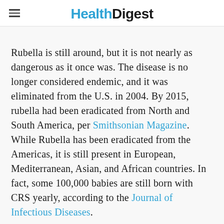Health Digest
Rubella is still around, but it is not nearly as dangerous as it once was. The disease is no longer considered endemic, and it was eliminated from the U.S. in 2004. By 2015, rubella had been eradicated from North and South America, per Smithsonian Magazine. While Rubella has been eradicated from the Americas, it is still present in European, Mediterranean, Asian, and African countries. In fact, some 100,000 babies are still born with CRS yearly, according to the Journal of Infectious Diseases.